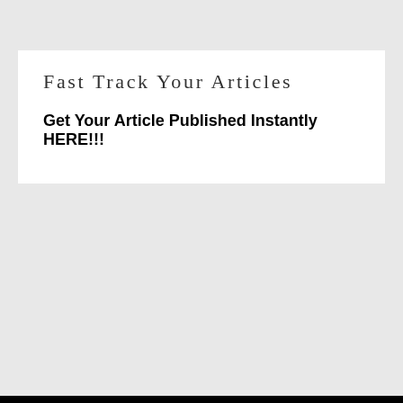Fast Track Your Articles
Get Your Article Published Instantly HERE!!!
[Figure (illustration): Four social media icons in circles: Facebook (f), Twitter (bird), Instagram (camera), Pinterest (P) — gray outlines on black background]
[Figure (logo): TECHSLING logo — bold white uppercase text inside a white-bordered rectangle on black background]
About   Contributors   Contact Us
Copyright © 2021. TechSling Weblog.